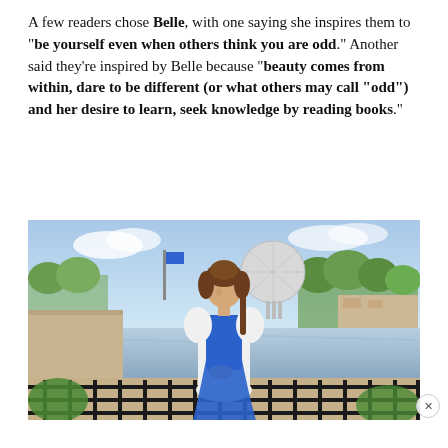A few readers chose Belle, with one saying she inspires them to "be yourself even when others think you are odd." Another said they're inspired by Belle because "beauty comes from within, dare to be different (or what others may call "odd") and her desire to learn, seek knowledge by reading books."
[Figure (photo): A person dressed as Belle from Beauty and the Beast in a blue and white village outfit, standing in front of a railing with a lake, Spaceship Earth geodesic dome, and trees visible in the background at EPCOT, Walt Disney World.]